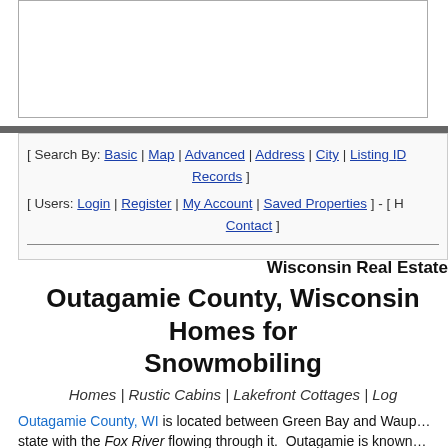[Figure (other): White box/banner area at top of page (likely an advertisement or image placeholder)]
[ Search By: Basic | Map | Advanced | Address | City | Listing ID | Records ]
[ Users: Login | Register | My Account | Saved Properties ] - [ Help | Contact ]
Wisconsin Real Estate
Outagamie County, Wisconsin Homes for Snowmobiling
Homes | Rustic Cabins | Lakefront Cottages | Log Cabins
Outagamie County, WI is located between Green Bay and Waupaca in the state with the Fox River flowing through it. Outagamie is known for state parks, biking, skiing, hiking, farming, public land, parks, hunting,